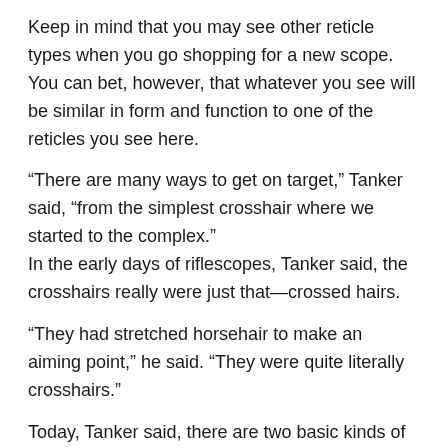Keep in mind that you may see other reticle types when you go shopping for a new scope. You can bet, however, that whatever you see will be similar in form and function to one of the reticles you see here.
“There are many ways to get on target,” Tanker said, “from the simplest crosshair where we started to the complex.”
In the early days of riflescopes, Tanker said, the crosshairs really were just that—crossed hairs.
“They had stretched horsehair to make an aiming point,” he said. “They were quite literally crosshairs.”
Today, Tanker said, there are two basic kinds of reticles: thin metal wire that looks very much like the original crosshairs, and complex reticle shapes that are etched with a laser on glass.